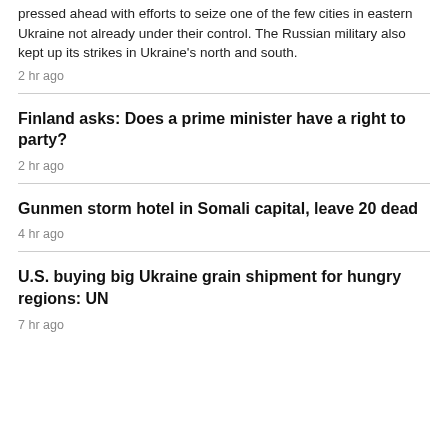pressed ahead with efforts to seize one of the few cities in eastern Ukraine not already under their control. The Russian military also kept up its strikes in Ukraine's north and south.
2 hr ago
Finland asks: Does a prime minister have a right to party?
2 hr ago
Gunmen storm hotel in Somali capital, leave 20 dead
4 hr ago
U.S. buying big Ukraine grain shipment for hungry regions: UN
7 hr ago